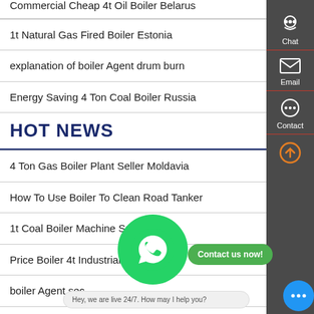Commercial Cheap 4t Oil Boiler Belarus
1t Natural Gas Fired Boiler Estonia
explanation of boiler Agent drum burn
Energy Saving 4 Ton Coal Boiler Russia
HOT NEWS
4 Ton Gas Boiler Plant Seller Moldavia
How To Use Boiler To Clean Road Tanker
1t Coal Boiler Machine Supp... [truncated]
Price Boiler 4t Industrial Latvia
boiler Agent sec...
1t Natural Gas Boiler Seller Moldavia (partial)
[Figure (screenshot): Sidebar with Chat, Email, Contact icons on dark grey background]
[Figure (screenshot): WhatsApp green circle icon overlay with 'Contact us now!' green bubble and live chat bar at bottom]